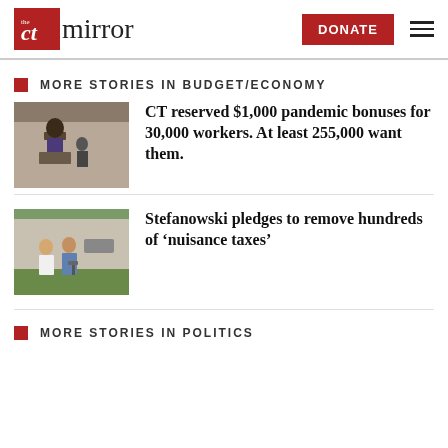The CT Mirror — DONATE
MORE STORIES IN BUDGET/ECONOMY
[Figure (photo): Woman speaking at a podium outdoors]
CT reserved $1,000 pandemic bonuses for 30,000 workers. At least 255,000 want them.
[Figure (photo): Two people standing outdoors at a press conference]
Stefanowski pledges to remove hundreds of ‘nuisance taxes’
MORE STORIES IN POLITICS